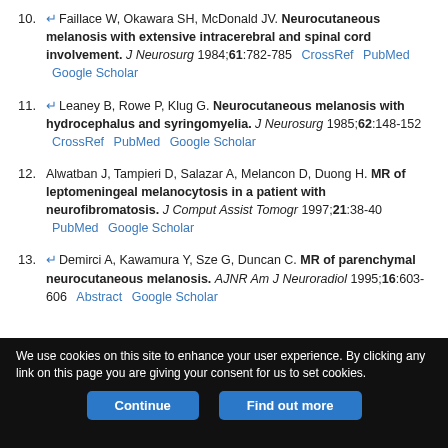10. Faillace W, Okawara SH, McDonald JV. Neurocutaneous melanosis with extensive intracerebral and spinal cord involvement. J Neurosurg 1984;61:782-785  CrossRef  PubMed  Google Scholar
11. Leaney B, Rowe P, Klug G. Neurocutaneous melanosis with hydrocephalus and syringomyelia. J Neurosurg 1985;62:148-152  CrossRef  PubMed  Google Scholar
12. Alwatban J, Tampieri D, Salazar A, Melancon D, Duong H. MR of leptomeningeal melanocytosis in a patient with neurofibromatosis. J Comput Assist Tomogr 1997;21:38-40  PubMed  Google Scholar
13. Demirci A, Kawamura Y, Sze G, Duncan C. MR of parenchymal neurocutaneous melanosis. AJNR Am J Neuroradiol 1995;16:603-606  Abstract  Google Scholar
We use cookies on this site to enhance your user experience. By clicking any link on this page you are giving your consent for us to set cookies.